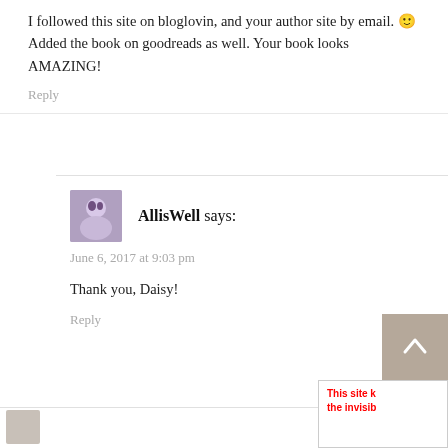I followed this site on bloglovin, and your author site by email. 🙂 Added the book on goodreads as well. Your book looks AMAZING!
Reply
AllisWell says:
June 6, 2017 at 9:03 pm
Thank you, Daisy!
Reply
This site k the invisib